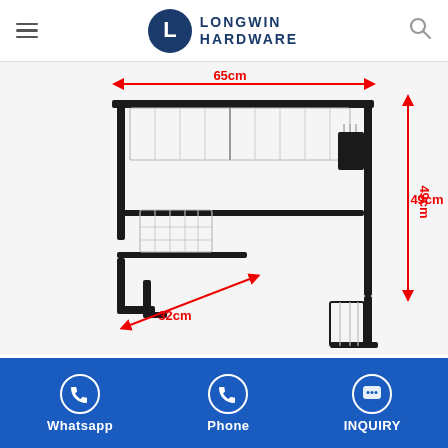Longwin Hardware
[Figure (photo): A black metal over-sink dish drying rack with dimensions labeled: 65cm width (top, red arrow), 32cm depth (bottom, red arrow), 49cm height (right side, red arrow). The rack has wire baskets and a cutlery holder.]
In order to meet the market demand and enrich the
Whatsapp | Phone | INQUIRY